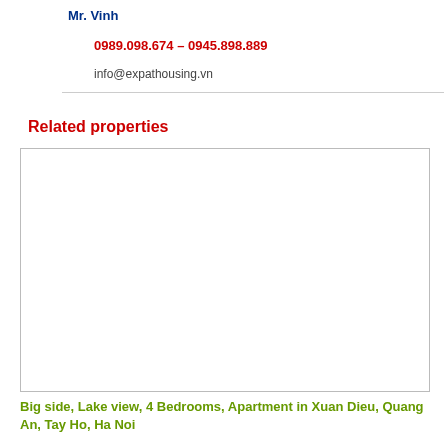Mr. Vinh
0989.098.674 – 0945.898.889
info@expathousing.vn
Related properties
[Figure (photo): Property photo placeholder — white/blank rectangle with border]
Big side, Lake view, 4 Bedrooms, Apartment in Xuan Dieu, Quang An, Tay Ho, Ha Noi